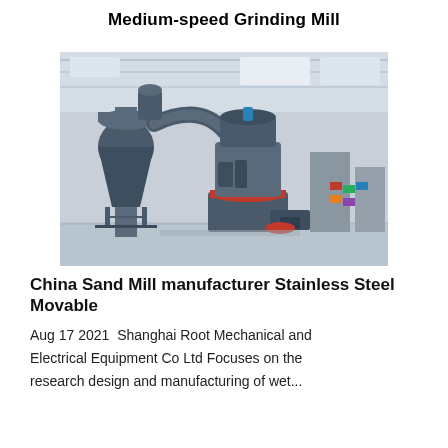Medium-speed Grinding Mill
[Figure (photo): Industrial medium-speed grinding mill machine with cyclone separator and vertical roller mill unit, photographed in a large factory/exhibition hall.]
China Sand Mill manufacturer Stainless Steel Movable
Aug 17 2021  Shanghai Root Mechanical and
Electrical Equipment Co Ltd Focuses on the
research design and manufacturing of wet...